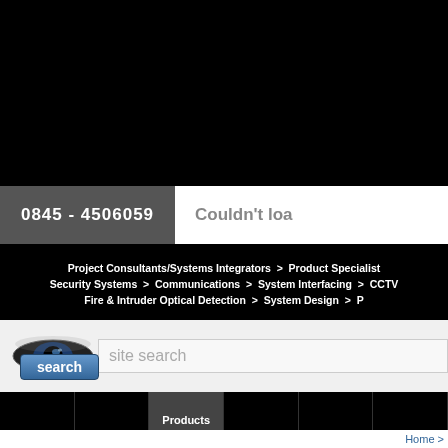[Figure (screenshot): Top black banner area of a security systems website]
0845 - 4506059
Couldn't loa
Project Consultants/Systems Integrators > Product Specialist Security Systems > Communications > System Interfacing > CCTV Fire & Intruder Optical Detection > System Design > P
[Figure (logo): Eye logo for site search area]
site search
search
Products
Home >